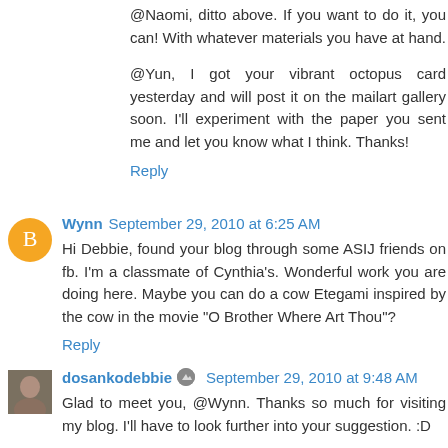@Naomi, ditto above. If you want to do it, you can! With whatever materials you have at hand.
@Yun, I got your vibrant octopus card yesterday and will post it on the mailart gallery soon. I'll experiment with the paper you sent me and let you know what I think. Thanks!
Reply
Wynn  September 29, 2010 at 6:25 AM
Hi Debbie, found your blog through some ASIJ friends on fb. I'm a classmate of Cynthia's. Wonderful work you are doing here. Maybe you can do a cow Etegami inspired by the cow in the movie "O Brother Where Art Thou"?
Reply
dosankodebbie  September 29, 2010 at 9:48 AM
Glad to meet you, @Wynn. Thanks so much for visiting my blog. I'll have to look further into your suggestion. :D